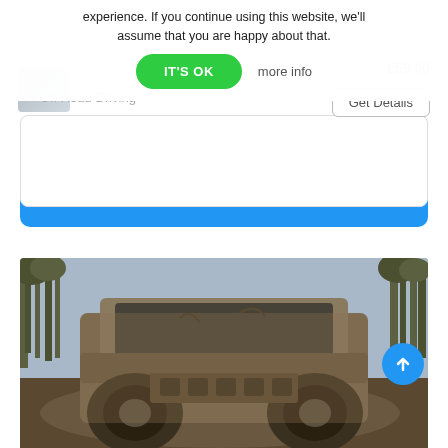experience. If you continue using this website, we'll assume that you are happy about that.
IT'S OK
more info
$59.00
Get Details
Off Road Driving
View All Off Road Driving Experience
[Figure (photo): Front view of a heavily mud-covered off-road vehicle (appearing damaged/rusted) surrounded by bare trees in an outdoor setting. A blue circular scroll-to-top button with an upward arrow is overlaid on the right side.]